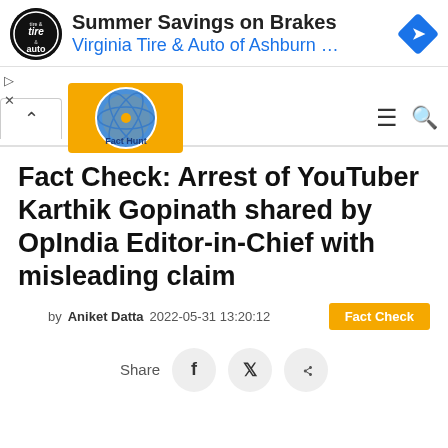[Figure (screenshot): Advertisement banner for Virginia Tire & Auto of Ashburn featuring tire & auto logo, text 'Summer Savings on Brakes', 'Virginia Tire & Auto of Ashburn ...', and a blue navigation diamond icon.]
[Figure (logo): Fact Hunt website logo — yellow/orange square with blue circular emblem and text 'Fact Hunt'.]
Fact Check: Arrest of YouTuber Karthik Gopinath shared by OpIndia Editor-in-Chief with misleading claim
by Aniket Datta 2022-05-31 13:20:12
Fact Check
Share